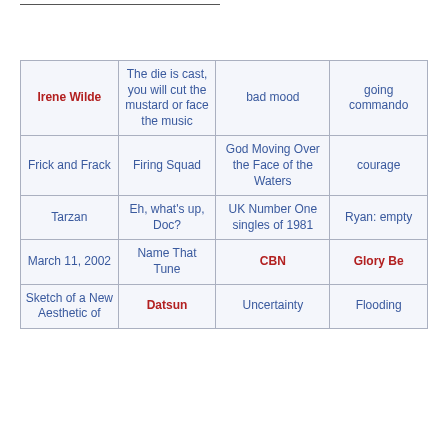| Irene Wilde | The die is cast, you will cut the mustard or face the music | bad mood | going commando |
| Frick and Frack | Firing Squad | God Moving Over the Face of the Waters | courage |
| Tarzan | Eh, what's up, Doc? | UK Number One singles of 1981 | Ryan: empty |
| March 11, 2002 | Name That Tune | CBN | Glory Be |
| Sketch of a New Aesthetic of | Datsun | Uncertainty | Flooding |